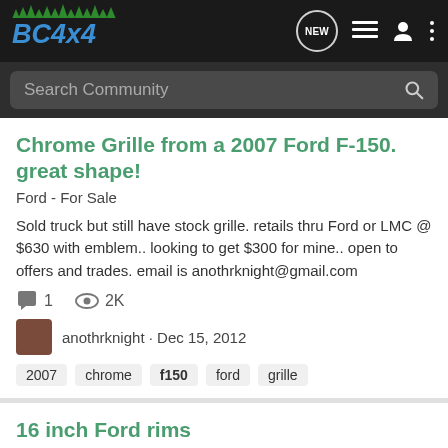BC4x4 - Navigation bar with logo, NEW chat button, list icon, user icon, more icon
Search Community
Chrome Grille from a 2007 Ford F-150. great shape!
Ford - For Sale
Sold truck but still have stock grille. retails thru Ford or LMC @ $630 with emblem.. looking to get $300 for mine.. open to offers and trades. email is anothrknight@gmail.com
1 comment · 2K views
anothrknight · Dec 15, 2012
2007
chrome
f150
ford
grille
16 inch Ford rims
Ford - Wanted
Stock 16 or 17 inch Ford rims to fit a 98 F-150 XL 4x4. The